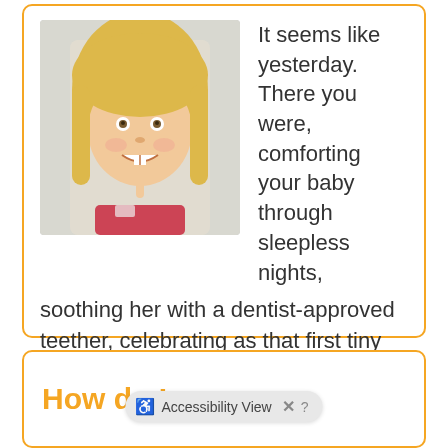[Figure (photo): Young blonde child smiling and pointing finger to mouth, showing baby teeth]
It seems like yesterday. There you were, comforting your baby through sleepless nights, soothing her with a dentist-approved teether, celebrating as that first tiny tooth poked through her gums. And
READ MORE →
How do I avo…?